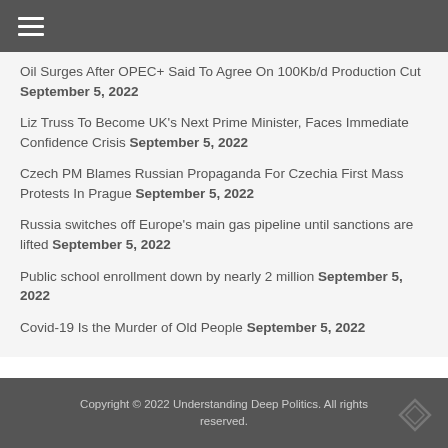≡
Oil Surges After OPEC+ Said To Agree On 100Kb/d Production Cut September 5, 2022
Liz Truss To Become UK's Next Prime Minister, Faces Immediate Confidence Crisis September 5, 2022
Czech PM Blames Russian Propaganda For Czechia First Mass Protests In Prague September 5, 2022
Russia switches off Europe's main gas pipeline until sanctions are lifted September 5, 2022
Public school enrollment down by nearly 2 million September 5, 2022
Covid-19 Is the Murder of Old People September 5, 2022
Copyright © 2022 Understanding Deep Politics. All rights reserved.